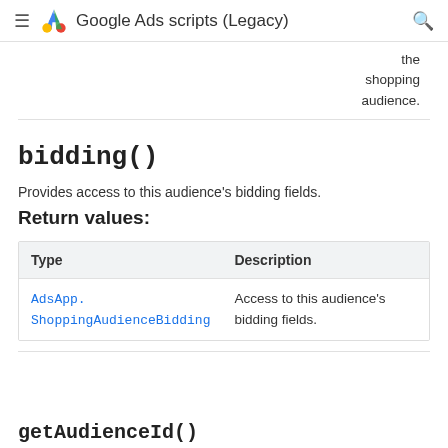Google Ads scripts (Legacy)
the shopping audience.
bidding()
Provides access to this audience's bidding fields.
Return values:
| Type | Description |
| --- | --- |
| AdsApp.ShoppingAudienceBidding | Access to this audience's bidding fields. |
getAudienceId()